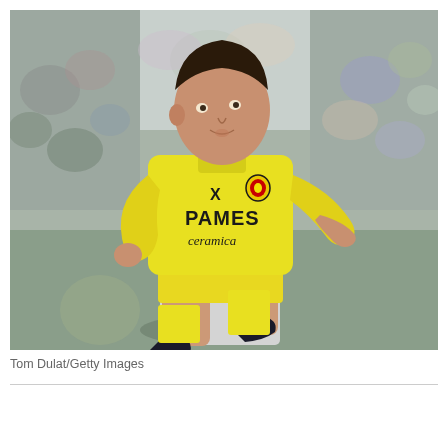[Figure (photo): A football player wearing a bright yellow Villarreal CF kit with 'PAMES ceramica' sponsor text, running on a pitch. The player is a young male with short dark hair. Crowd/stadium seating is visible in the blurred background.]
Tom Dulat/Getty Images